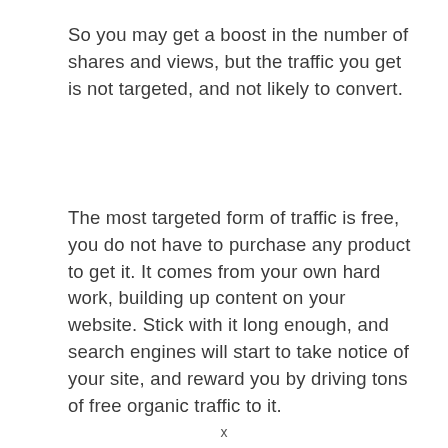So you may get a boost in the number of shares and views, but the traffic you get is not targeted, and not likely to convert.
The most targeted form of traffic is free, you do not have to purchase any product to get it. It comes from your own hard work, building up content on your website. Stick with it long enough, and search engines will start to take notice of your site, and reward you by driving tons of free organic traffic to it.
x